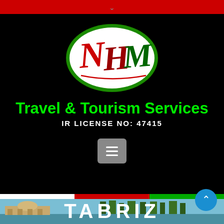[Figure (logo): NHM Travel & Tourism Services logo — oval shape with green border, white background, decorative red and green calligraphic letters NHM]
Travel & Tourism Services
IR LICENSE NO:  47415
[Figure (other): Menu/hamburger button — grey rounded rectangle with three horizontal white lines]
[Figure (photo): Photograph of Tabriz cityscape with water, trees, and historic building]
TABRIZ